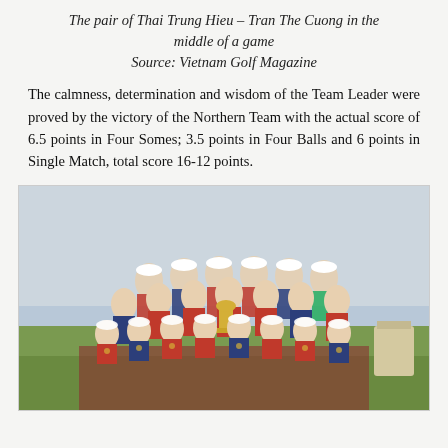The pair of Thai Trung Hieu – Tran The Cuong in the middle of a game
Source: Vietnam Golf Magazine
The calmness, determination and wisdom of the Team Leader were proved by the victory of the Northern Team with the actual score of 6.5 points in Four Somes; 3.5 points in Four Balls and 6 points in Single Match, total score 16-12 points.
[Figure (photo): Group photo of a golf team wearing red, blue and white uniforms with medals, posing with a trophy on a golf course. Approximately 20 players arranged in rows.]